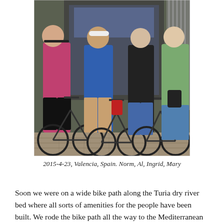[Figure (photo): Four people standing with bicycles in front of a building in Valencia, Spain. From left to right: Norm (wearing a pink shirt and black cap), Al (wearing a blue shirt and white cap), Ingrid (wearing a black shirt and jeans), and Mary (wearing a green patterned top and blue pants). The photo is taken on a tiled sidewalk.]
2015-4-23, Valencia, Spain. Norm, Al, Ingrid, Mary
Soon we were on a wide bike path along the Turia dry river bed where all sorts of amenities for the people have been built. We rode the bike path all the way to the Mediterranean coast, (10 miles round trip) to the beautiful beach near the ferris wheel that I wrote about last blog. In a little